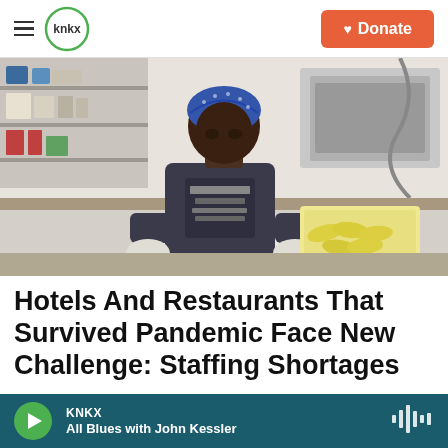KNKX | Donate
[Figure (photo): A kitchen worker wearing a blue bandana and Jack Daniel's t-shirt with white gloves, working in a commercial kitchen with vegetables in a container nearby.]
Hotels And Restaurants That Survived Pandemic Face New Challenge: Staffing Shortages
KNKX — All Blues with John Kessler